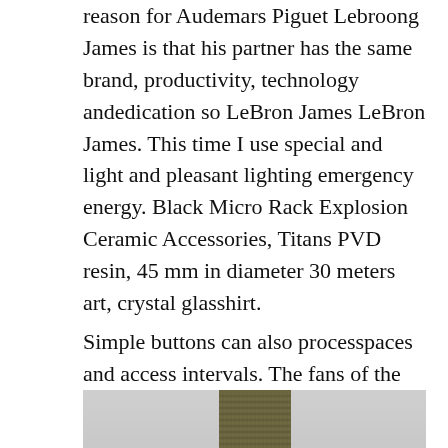reason for Audemars Piguet Lebroong James is that his partner has the same brand, productivity, technology andedication so LeBron James LeBron James. This time I use special and light and pleasant lighting emergency energy. Black Micro Rack Explosion Ceramic Accessories, Titans PVD resin, 45 mm in diameter 30 meters art, crystal glasshirt.
Simple buttons can also processpaces and access intervals. The fans of the car can listen to the wind, speed and speed of the motorcycle. Above all, when I understand, the
[Figure (photo): Partial image of a watch or watch strap with a dark olive/khaki textile strap against a light grey background, cropped at the bottom of the page.]